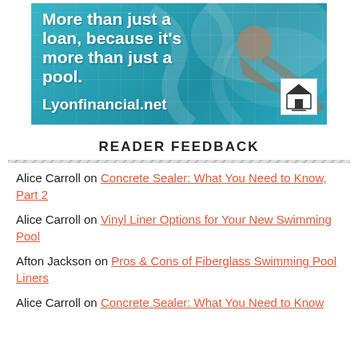[Figure (photo): Advertisement for Lyonfinancial.net showing a person swimming underwater in a tiled pool. Text reads 'More than just a loan, because it's more than just a pool. Lyonfinancial.net' with an Equal Housing Lender logo.]
READER FEEDBACK
Alice Carroll on Concrete Sealer: What You Need to Know, Part 2
Alice Carroll on Vinyl Liner Options for Your New Swimming Pool
Afton Jackson on Pros & Cons of Fiberglass Swimming Pool Liners
Alice Carroll on Concrete Sealer: What You Need to Know